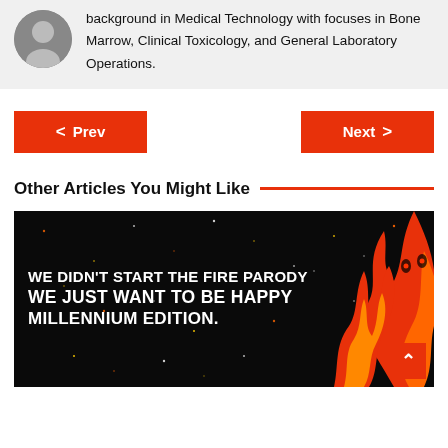background in Medical Technology with focuses in Bone Marrow, Clinical Toxicology, and General Laboratory Operations.
< Prev
Next >
Other Articles You Might Like
[Figure (photo): Article thumbnail image with black background showing flames and text: WE DIDN'T START THE FIRE PARODY / WE JUST WANT TO BE HAPPY / MILLENNIUM EDITION]